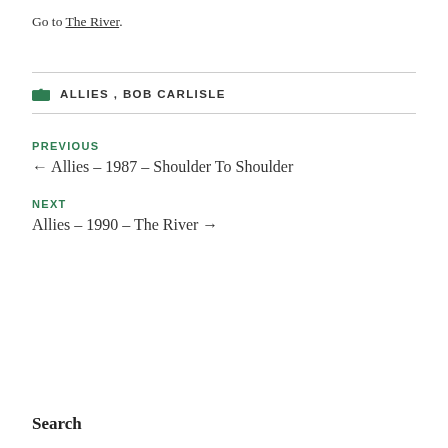Go to The River.
ALLIES, BOB CARLISLE
PREVIOUS
← Allies – 1987 – Shoulder To Shoulder
NEXT
Allies – 1990 – The River →
Search